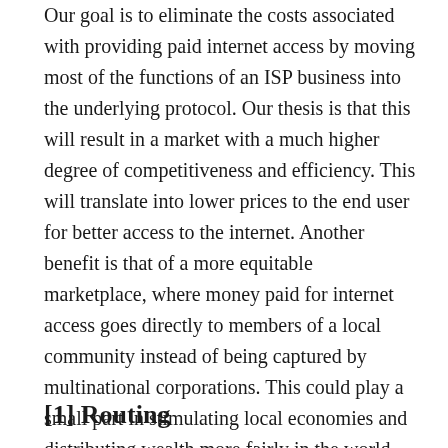Our goal is to eliminate the costs associated with providing paid internet access by moving most of the functions of an ISP business into the underlying protocol. Our thesis is that this will result in a market with a much higher degree of competitiveness and efficiency. This will translate into lower prices to the end user for better access to the internet. Another benefit is that of a more equitable marketplace, where money paid for internet access goes directly to members of a local community instead of being captured by multinational corporations. This could play a small part in stimulating local economies and distributing wealth more fairly in the world.
[1] Routing